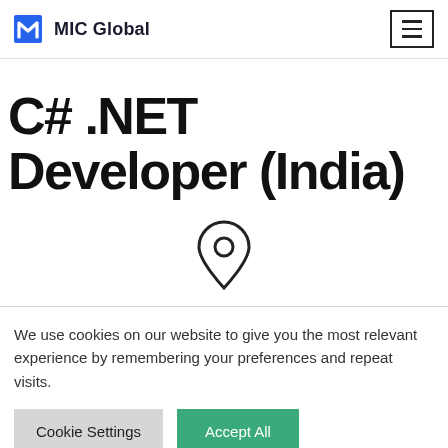MIC Global
C# .NET Developer (India)
[Figure (illustration): Location pin / map marker icon, outline style, centered on page]
We use cookies on our website to give you the most relevant experience by remembering your preferences and repeat visits.
Cookie Settings | Accept All